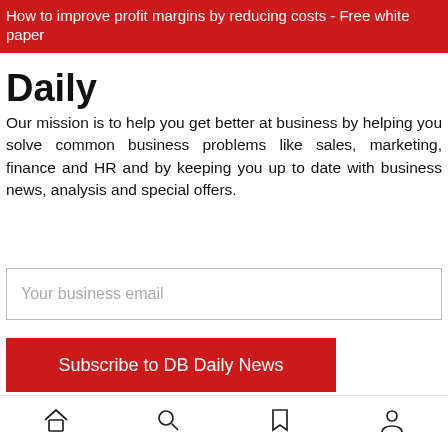How to improve profit margins by reducing costs - Free white paper
Daily
Our mission is to help you get better at business by helping you solve common business problems like sales, marketing, finance and HR and by keeping you up to date with business news, analysis and special offers.
Your business email
Subscribe to DB Daily News
You can unsubscribe anytime & we will never sell your data
DB Brand Accounts
DB Brand Account